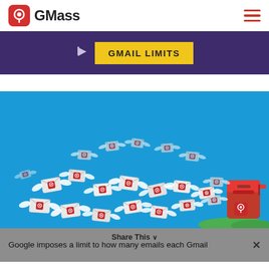GMass
GMAIL LIMITS
[Figure (illustration): Illustration of many white envelopes with GMass red logo icons flying with wings toward a red mailbox on a blue sky background with green grass]
Google imposes a limit to how many emails each Gmail